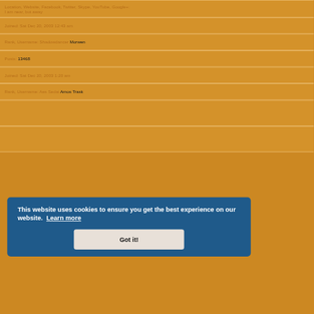Location, Website, Facebook, Twitter, Skype, YouTube, Google+: I am near, but away
Joined: Sat Dec 20, 2003 12:43 am
Rank, Username: Shadowdancer Morwen
Posts: 13468
Joined: Sat Dec 20, 2003 1:20 am
Rank, Username: Aes Sedai Amos Trask
This website uses cookies to ensure you get the best experience on our website. Learn more
Got it!